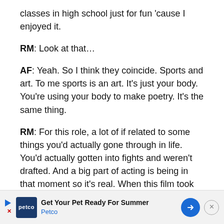classes in high school just for fun 'cause I enjoyed it.
RM: Look at that…
AF: Yeah. So I think they coincide. Sports and art. To me sports is an art. It's just your body. You're using your body to make poetry. It's the same thing.
RM: For this role, a lot of if related to some things you'd actually gone through in life. You'd actually gotten into fights and weren't drafted. And a big part of acting is being in that moment so it's real. When this film took you back to those moments, what were the feelings that came up?
[Figure (other): Advertisement banner for Petco: 'Get Your Pet Ready For Summer' with Petco logo and blue arrow icon.]